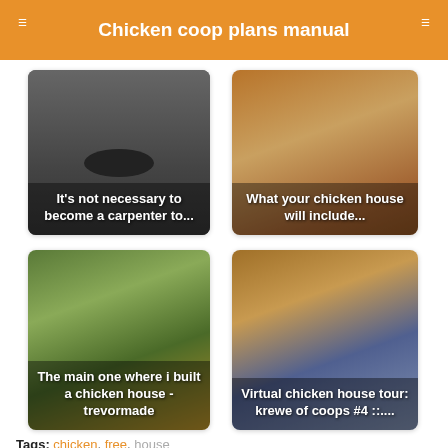Chicken coop plans manual
[Figure (photo): Card showing text: It's not necessary to become a carpenter to... on dark background]
[Figure (photo): Card showing photo of chickens with text: What your chicken house will include...]
[Figure (photo): Card showing photo of wooden chicken coop with text: The main one where i built a chicken house - trevormade]
[Figure (photo): Card showing photo of wooden structure with blue door, text: Virtual chicken house tour: krewe of coops #4 ::....]
Tags: chicken, free, house
Back to top
« Food conspiracy co-op
Chicken house ventilation – summer time and winter »